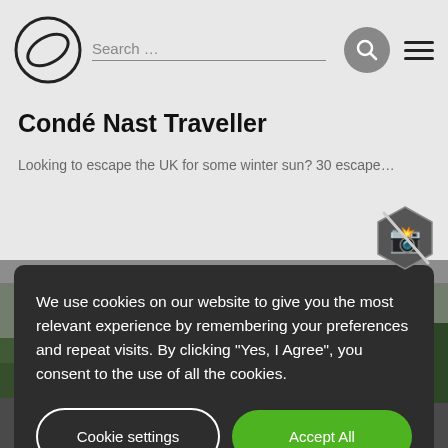[Figure (logo): Lexus ellipse logo in top left corner]
Search …
Condé Nast Traveller
Looking to escape the UK for some winter sun? Our chosen villas already...
We use cookies on our website to give you the most relevant experience by remembering your preferences and repeat visits. By clicking "Yes, I Agree", you consent to the use of all the cookies.
Cookie settings
Accept All
[Figure (photo): Lexus car driving on a road through green landscape]